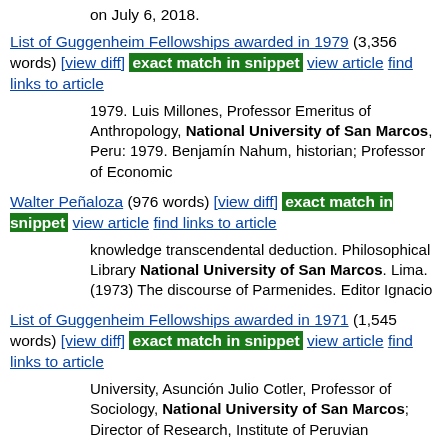on July 6, 2018.
List of Guggenheim Fellowships awarded in 1979 (3,356 words) [view diff] exact match in snippet view article find links to article
1979. Luis Millones, Professor Emeritus of Anthropology, National University of San Marcos, Peru: 1979. Benjamín Nahum, historian; Professor of Economic
Walter Peñaloza (976 words) [view diff] exact match in snippet view article find links to article
knowledge transcendental deduction. Philosophical Library National University of San Marcos. Lima. (1973) The discourse of Parmenides. Editor Ignacio
List of Guggenheim Fellowships awarded in 1971 (1,545 words) [view diff] exact match in snippet view article find links to article
University, Asunción Julio Cotler, Professor of Sociology, National University of San Marcos; Director of Research, Institute of Peruvian